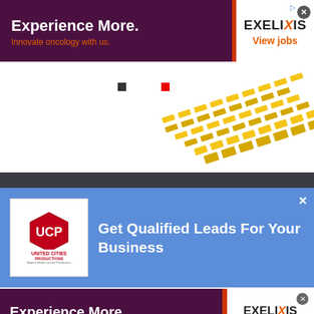[Figure (infographic): Top advertisement banner: dark purple left section with white text 'Experience More.' and orange text 'Innovate oncology with us.' Right white section shows EXELIXIS logo with 'View jobs' in orange. Orange diagonal stripe divides sections.]
[Figure (illustration): Yellow/gold tire track pattern decorating the ad area on a white background.]
[Figure (infographic): Middle advertisement on blue background. Left: United Cities Productions logo in white box. Right: white bold text 'Get Qualified Leads For Your Business'. X close button top right.]
[Figure (infographic): Bottom advertisement banner: dark purple left section with white text 'Experience More.' and orange text 'Innovate oncology with us.' Right white section shows EXELIXIS logo with 'View jobs' in orange. Orange diagonal stripe divides sections. X close button top right.]